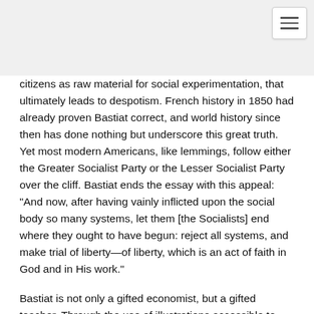[Figure (other): Hamburger menu button icon in top-right corner]
citizens as raw material for social experimentation, that ultimately leads to despotism. French history in 1850 had already proven Bastiat correct, and world history since then has done nothing but underscore this great truth. Yet most modern Americans, like lemmings, follow either the Greater Socialist Party or the Lesser Socialist Party over the cliff. Bastiat ends the essay with this appeal: "And now, after having vainly inflicted upon the social body so many systems, let them [the Socialists] end where they ought to have begun: reject all systems, and make trial of liberty—of liberty, which is an act of faith in God and in His work."
Bastiat is not only a gifted economist, but a gifted teacher. Through the use of illustrations accessible to anyone, he breaks the questions down to their simplest form, where it is easy to grasp the straightforward answer. There are no demand curves or analysis of financial derivatives here, but rather the case of one carpenter wanting to borrow the plane of another. Simple without being simplistic, he politely allows the other (i.e. Socialist) point of view to express itself ably and fully, then skillfully demonstrates the unintended consequences of those policies. His illustrations have a